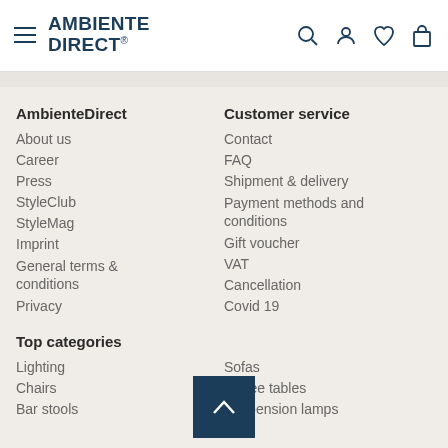AMBIENTE DIRECT
AmbienteDirect
About us
Career
Press
StyleClub
StyleMag
Imprint
General terms & conditions
Privacy
Customer service
Contact
FAQ
Shipment & delivery
Payment methods and conditions
Gift voucher
VAT
Cancellation
Covid 19
Top categories
Lighting
Chairs
Bar stools
Sofas
Coffee tables
Suspension lamps